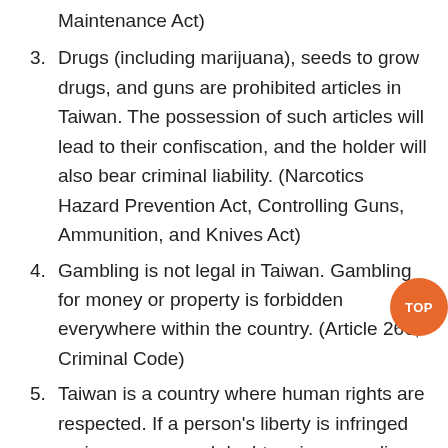Maintenance Act)
3. Drugs (including marijuana), seeds to grow drugs, and guns are prohibited articles in Taiwan. The possession of such articles will lead to their confiscation, and the holder will also bear criminal liability. (Narcotics Hazard Prevention Act, Controlling Guns, Ammunition, and Knives Act)
4. Gambling is not legal in Taiwan. Gambling for money or property is forbidden everywhere within the country. (Article 266, Criminal Code)
5. Taiwan is a country where human rights are respected. If a person's liberty is infringed on in any way, and doubts arise regarding legality, the person can apply for a writ of Habeas Corpus directly to a